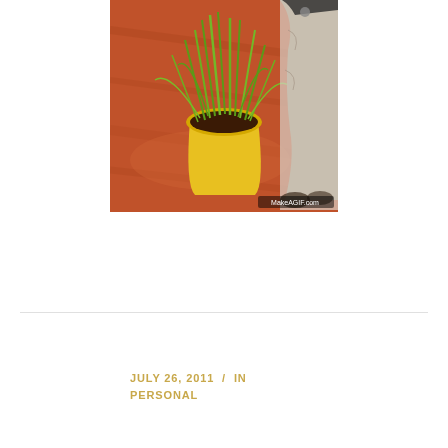[Figure (photo): A yellow pot with green grass/cat grass growing in it, on a reddish-brown wooden surface. A cat is partially visible on the right side. Watermark 'MakeAGIF.com' at bottom right.]
JULY 26, 2011  /  IN PERSONAL